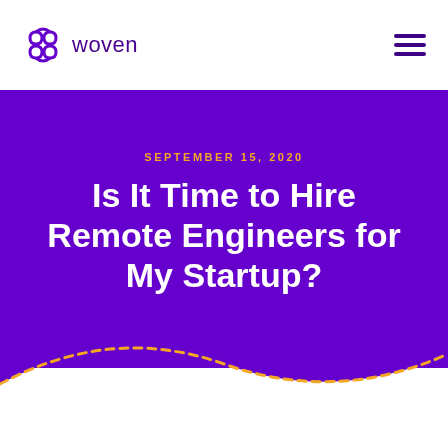woven
SEPTEMBER 15, 2020
Is It Time to Hire Remote Engineers for My Startup?
[Figure (illustration): Decorative wavy divider between purple hero section and white area, with a dashed yellow/orange line following the wave curve]